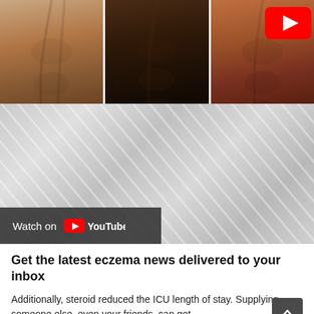[Figure (photo): Three muscular male torsos side by side; third panel has a YouTube play button overlay]
[Figure (screenshot): YouTube video thumbnail with diagonal grey stripe pattern and 'Watch on YouTube' bar at bottom]
Get the latest eczema news delivered to your inbox
Additionally, steroid reduced the ICU length of stay. Supplying someone else, even your friends, can get